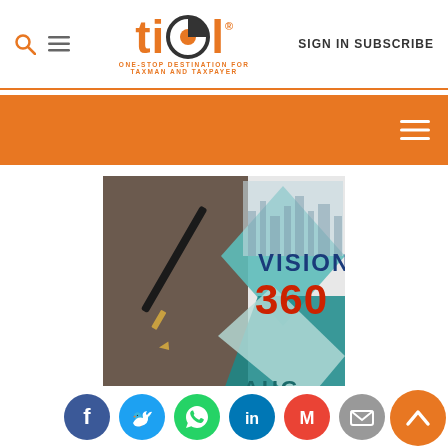[Figure (logo): TIOL logo - orange stylized text 'tiol' with circular 'O' containing an orange dot. Tagline: ONE-STOP DESTINATION FOR TAXMAN AND TAXPAYER]
SIGN IN SUBSCRIBE
[Figure (screenshot): Orange navigation bar with hamburger menu icon on the right]
[Figure (photo): Vision 360 promotional image showing a hand writing with a pen, city skyline background with diamond shapes, text 'VISION 360' in blue/red, and 'AUG' text at the bottom]
[Figure (infographic): Social media share buttons row: Facebook (blue), Twitter (light blue), WhatsApp (green), LinkedIn (blue), Gmail (red), Email (grey). Back-to-top orange circle button on the right.]